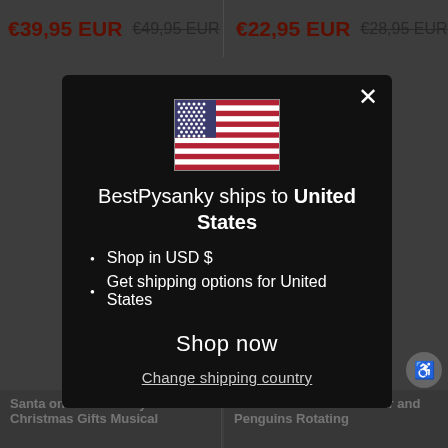€39,95 EUR  €49,95 EUR
€22,95 EUR  €28,95 EUR
[Figure (illustration): US flag emoji / image shown in modal dialog]
BestPysanky ships to United States
Shop in USD $
Get shipping options for United States
Shop now
Change shipping country
Santa on the Chimney with Christmas Gifts Musical
Snowman with Polar Bear and Penguins Rotating